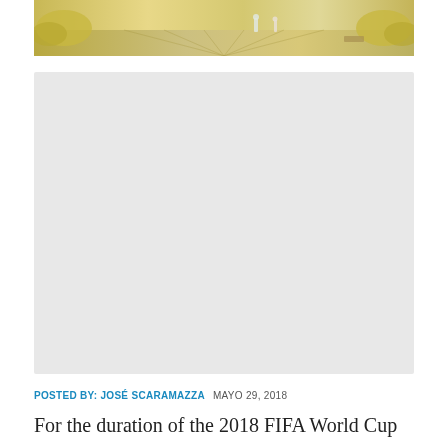[Figure (photo): Outdoor walkway/plaza with people walking, warm golden tones, trees and shrubs on the sides]
[Figure (other): Large light gray placeholder/advertisement box]
POSTED BY: JOSÉ SCARAMAZZA   MAYO 29, 2018
For the duration of the 2018 FIFA World Cup